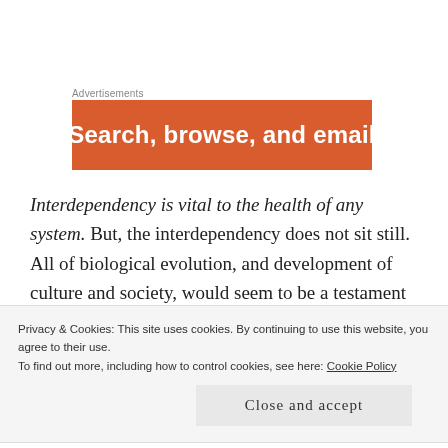Advertisements
[Figure (other): Orange advertisement banner with white bold text reading 'Search, browse, and email']
Interdependency is vital to the health of any system. But, the interdependency does not sit still. All of biological evolution, and development of culture and society, would seem to be a testament to the characteristics of contextual multilayered shiftings through time. Nothing stays the same, clearly. So
Privacy & Cookies: This site uses cookies. By continuing to use this website, you agree to their use.
To find out more, including how to control cookies, see here: Cookie Policy
Close and accept
of tree in the same forest does not necessarily grow